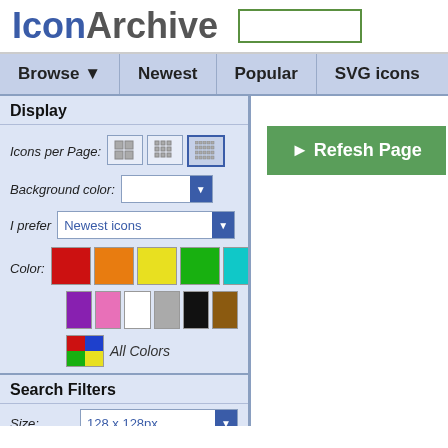[Figure (logo): IconArchive logo with blue 'Icon' and grey 'Archive' text, plus a search box with green border]
Browse ▼   Newest   Popular   SVG icons
Display
Icons per Page: [grid size selectors]
Background color: [dropdown]
I prefer  Newest icons [dropdown]
Color: [color swatches - red, orange, yellow, green, cyan, blue, purple, pink, white, gray, black, brown, All Colors]
Search Filters
Size: 128 x 128px [dropdown]
Category: Buildings [dropdown]
Style: Bold / Bordered [dropdown]
[Figure (other): Green Refresh Page button with play arrow icon]